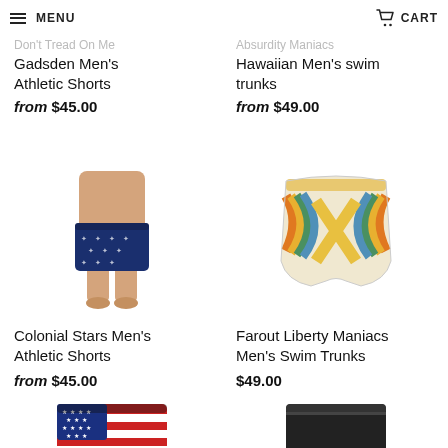MENU | CART
Don't Tread On Me Gadsden Men's Athletic Shorts
from $45.00
Absurdity Maniacs Hawaiian Men's swim trunks
from $49.00
[Figure (photo): Man wearing navy blue athletic shorts with white star/anchor pattern]
[Figure (photo): Retro-style swim trunks with colorful rainbow arc stripe pattern on cream background]
Colonial Stars Men's Athletic Shorts
from $45.00
Farout Liberty Maniacs Men's Swim Trunks
$49.00
[Figure (photo): Red white and blue American flag style shorts, partially visible at bottom]
[Figure (photo): Black swim trunks, partially visible at bottom]